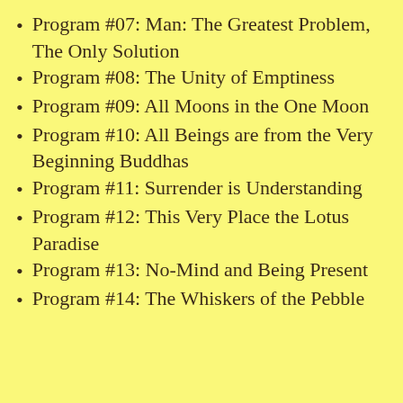Program #07: Man: The Greatest Problem, The Only Solution
Program #08: The Unity of Emptiness
Program #09: All Moons in the One Moon
Program #10: All Beings are from the Very Beginning Buddhas
Program #11: Surrender is Understanding
Program #12: This Very Place the Lotus Paradise
Program #13: No-Mind and Being Present
Program #14: The Whiskers of the Pebble